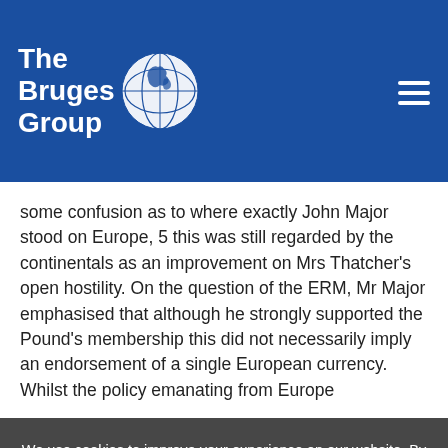[Figure (logo): The Bruges Group logo: white text 'The Bruges Group' with a globe illustration on blue background, plus hamburger menu icon on the right]
some confusion as to where exactly John Major stood on Europe, 5 this was still regarded by the continentals as an improvement on Mrs Thatcher's open hostility. On the question of the ERM, Mr Major emphasised that although he strongly supported the Pound's membership this did not necessarily imply an endorsement of a single European currency. Whilst the policy emanating from Europe
We use cookies to improve your experience on our website. By browsing this website, you agree to our use of cookies.
Ok, I've understood!
Decline